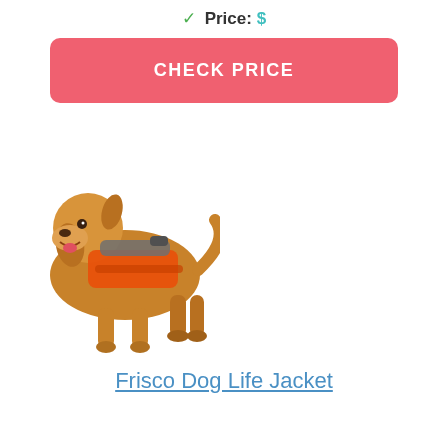✓ Price: $
CHECK PRICE
[Figure (photo): A golden retriever dog wearing an orange and grey life jacket, standing facing left]
Frisco Dog Life Jacket
✓ Designed with 20mm thick foam panels for buoyancy
✓ Three adjustable straps with side-release buckles
✓ Price: $